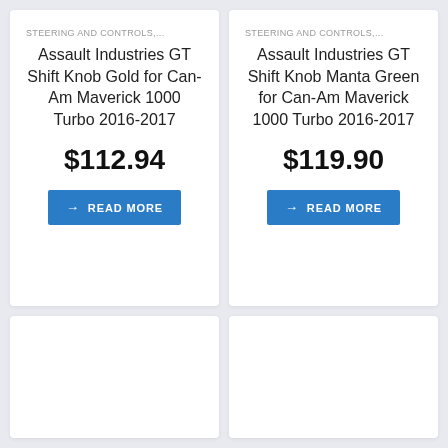STEERING AND CONTROLS,...
Assault Industries GT Shift Knob Gold for Can-Am Maverick 1000 Turbo 2016-2017
$112.94
→ READ MORE
STEERING AND CONTROLS,...
Assault Industries GT Shift Knob Manta Green for Can-Am Maverick 1000 Turbo 2016-2017
$119.90
→ READ MORE